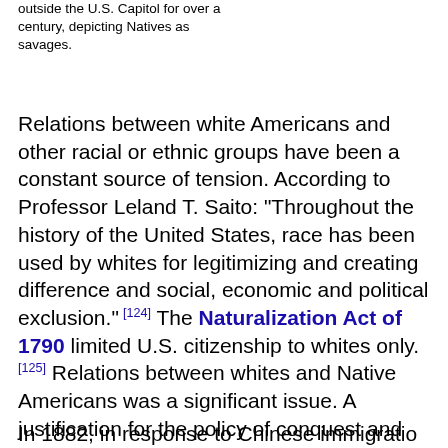outside the U.S. Capitol for over a century, depicting Natives as savages.
Relations between white Americans and other racial or ethnic groups have been a constant source of tension. According to Professor Leland T. Saito: "Throughout the history of the United States, race has been used by whites for legitimizing and creating difference and social, economic and political exclusion." [124] The Naturalization Act of 1790 limited U.S. citizenship to whites only. [125] Relations between whites and Native Americans was a significant issue. A justification for the policy of conquest and subjugation of the Indigenous people emanated from the stereotyped perceptions of all Native Americans as "merciless Indian savages" (as described in the United States Declaration of Independence). [126]
In 1882, in response to Chinese immigration...